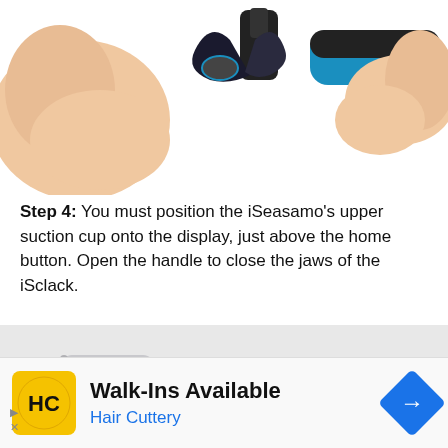[Figure (photo): Hands holding a tool (iSclack/iSeasamo) with black and blue handle, showing the upper suction cup mechanism against a white background.]
Step 4: You must position the iSeasamo's upper suction cup onto the display, just above the home button. Open the handle to close the jaws of the iSclack.
[Figure (photo): A smartphone being held with a tool (iSclack) being applied to its bottom edge; the tool has a suction cup and clamp mechanism visible.]
[Figure (photo): Advertisement banner for Hair Cuttery showing the HC logo in yellow circle, text 'Walk-Ins Available' and 'Hair Cuttery' in blue, with a blue navigation arrow icon on the right.]